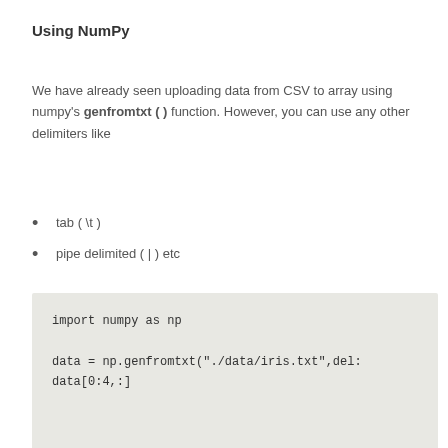Using NumPy
We have already seen uploading data from CSV to array using numpy's genfromtxt ( ) function. However, you can use any other delimiters like
tab ( \t )
pipe delimited ( | ) etc
import numpy as np

data = np.genfromtxt("./data/iris.txt",del:
data[0:4,:]